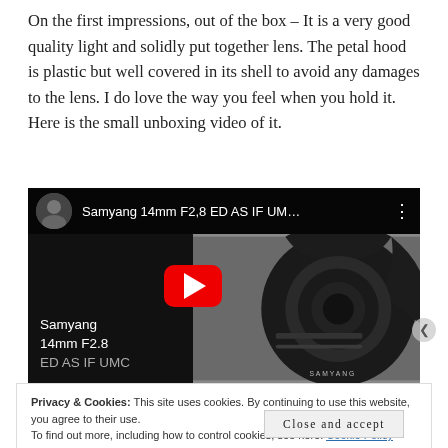On the first impressions, out of the box – It is a very good quality light and solidly put together lens. The petal hood is plastic but well covered in its shell to avoid any damages to the lens. I do love the way you feel when you hold it. Here is the small unboxing video of it.
[Figure (screenshot): YouTube video thumbnail showing Samyang 14mm F2.8 ED AS IF UM... video with play button overlay. Left panel shows dark background with channel avatar and text 'Samyang 14mm F2.8 ED AS IF UMC'. Right panel shows the camera lens with SAMYANG branding.]
Privacy & Cookies: This site uses cookies. By continuing to use this website, you agree to their use.
To find out more, including how to control cookies, see here: Cookie Policy
Close and accept